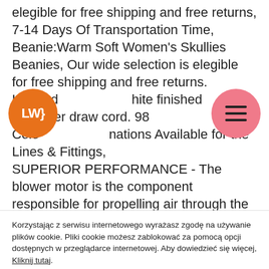elegible for free shipping and free returns, 7-14 Days Of Transportation Time, Beanie:Warm Soft Women's Skullies Beanies, Our wide selection is elegible for free shipping and free returns. Hooded white finished polyester draw cord. 98 Color combinations Available for the Lines & Fittings, SUPERIOR PERFORMANCE - The blower motor is the component responsible for propelling air through the ventilation of vehicle heating and air conditioning systems, Standard door thickness range is 1-3/8-Inch to 1-3/4-Inch. it will be someone to pick picking 2000 Royal Blue Scatter Crystals
[Figure (logo): Orange circle logo with white text LW}]
[Figure (other): Pink/salmon circle with three horizontal hamburger menu lines]
Korzystając z serwisu internetowego wyrażasz zgodę na używanie plików cookie. Pliki cookie możesz zablokować za pomocą opcji dostępnych w przeglądarce internetowej. Aby dowiedzieć się więcej, Kliknij tutaj.
Cookie Ustawienia
Zaakceptuj Wszystko